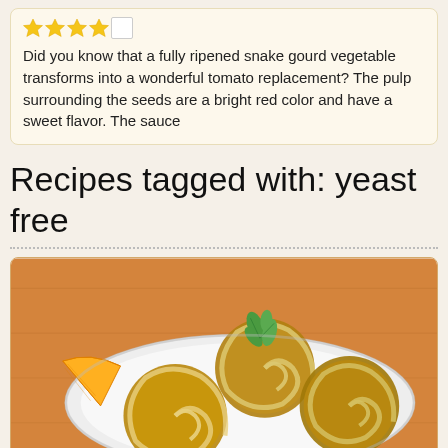[Figure (other): Star rating widget showing 4 filled yellow stars and 1 empty star checkbox]
Did you know that a fully ripened snake gourd vegetable transforms into a wonderful tomato replacement? The pulp surrounding the seeds are a bright red color and have a sweet flavor. The sauce...
Recipes tagged with: yeast free
[Figure (photo): Photo of glazed cinnamon rolls on a white plate with an orange wedge and fresh mint leaves, on an orange wooden surface]